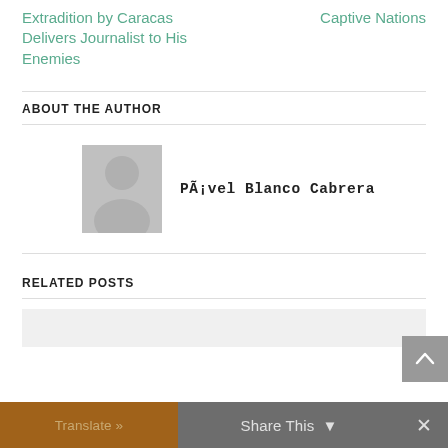Extradition by Caracas Delivers Journalist to His Enemies
Captive Nations
ABOUT THE AUTHOR
[Figure (photo): Default user avatar placeholder image — grey silhouette of a person on grey background]
PÃ¡vel Blanco Cabrera
RELATED POSTS
[Figure (other): Related post card placeholder — light grey rectangle]
Translate »
Share This
✕